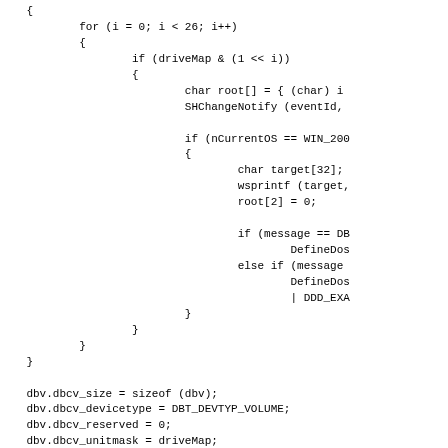Code snippet showing C/C++ source code with a for loop iterating over drive letters, checking driveMap bits, calling SHChangeNotify, checking nCurrentOS, declaring char arrays, calling wsprintf, setting root[2]=0, conditional DefineDos calls, and dbv struct assignments.